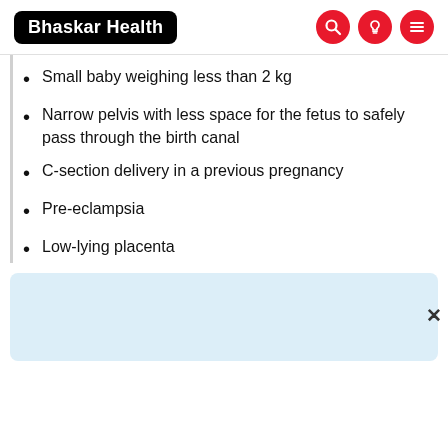Bhaskar Health
Small baby weighing less than 2 kg
Narrow pelvis with less space for the fetus to safely pass through the birth canal
C-section delivery in a previous pregnancy
Pre-eclampsia
Low-lying placenta
[Figure (other): Light blue advertisement/banner box]